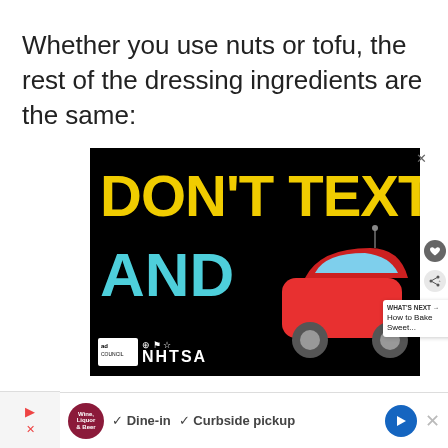Whether you use nuts or tofu, the rest of the dressing ingredients are the same:
[Figure (infographic): Advertisement on black background with yellow bold text 'DON'T TEXT' and cyan bold text 'AND' with a red car emoji, and NHTSA ad council branding at the bottom. A 'What's Next: How to Bake Sweet...' thumbnail appears at the bottom right.]
Dine-in   Curbside pickup